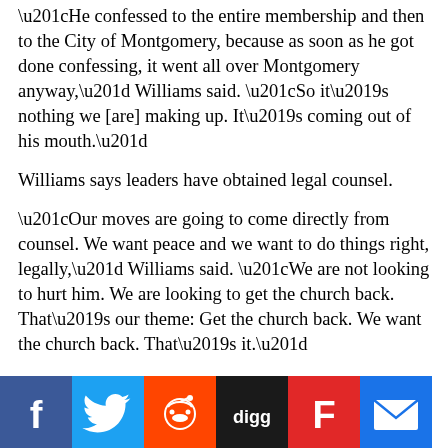“He confessed to the entire membership and then to the City of Montgomery, because as soon as he got done confessing, it went all over Montgomery anyway,” Williams said. “So it’s nothing we [are] making up. It’s coming out of his mouth.”
Williams says leaders have obtained legal counsel.
“Our moves are going to come directly from counsel. We want peace and we want to do things right, legally,” Williams said. “We are not looking to hurt him. We are looking to get the church back. That’s our theme: Get the church back. We want the church back. That’s it.”
Some members want a trial.
“I believe that he should be put on trial,” another unnamed church member said. “Go to court and let the judge decide if he should go to jail or not. We tend to sweep things under the rug, especially if they’re a head. It’s like, no, please let’s not get this out but I think after this that they will have
[Figure (other): Social media sharing icons: Facebook (blue), Twitter (blue), Reddit (orange), Digg (black), Flipboard (red), Email (blue)]